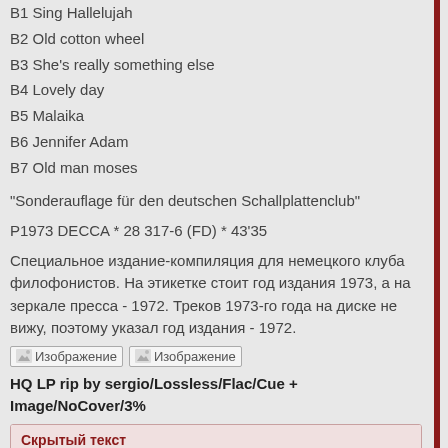B1 Sing Hallelujah
B2 Old cotton wheel
B3 She's really something else
B4 Lovely day
B5 Malaika
B6 Jennifer Adam
B7 Old man moses
"Sonderauflage für den deutschen Schallplattenclub"
P1973 DECCA * 28 317-6 (FD) * 43'35
Специальное издание-компиляция для немецкого клуба филофонистов. На этикетке стоит год издания 1973, а на зеркале пресса - 1972. Треков 1973-го года на диске не вижу, поэтому указал год издания - 1972.
[Figure (other): Two image placeholders labeled Изображение]
HQ LP rip by sergio/Lossless/Flac/Cue + Image/NoCover/3%
Скрытый текст
Для просмотра скрытого текста необходимо быть авторизованным пользователем.